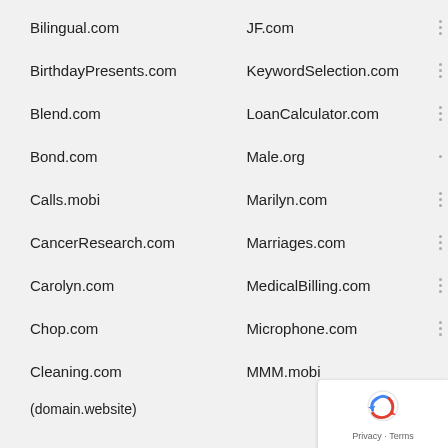Bilingual.com    JF.com
BirthdayPresents.com    KeywordSelection.com
Blend.com    LoanCalculator.com
Bond.com    Male.org
Calls.mobi    Marilyn.com
CancerResearch.com    Marriages.com
Carolyn.com    MedicalBilling.com
Chop.com    Microphone.com
Cleaning.com    MMM.mobi
(domain.website)